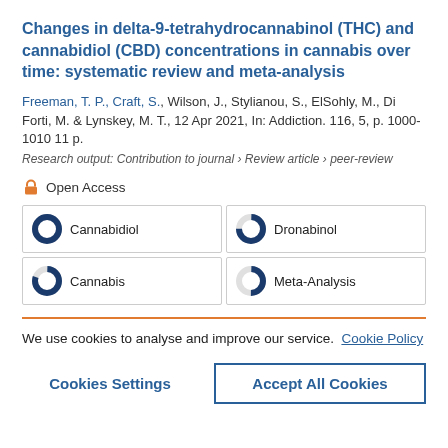Changes in delta-9-tetrahydrocannabinol (THC) and cannabidiol (CBD) concentrations in cannabis over time: systematic review and meta-analysis
Freeman, T. P., Craft, S., Wilson, J., Stylianou, S., ElSohly, M., Di Forti, M. & Lynskey, M. T., 12 Apr 2021, In: Addiction. 116, 5, p. 1000-1010 11 p.
Research output: Contribution to journal › Review article › peer-review
Open Access
Cannabidiol
Dronabinol
Cannabis
Meta-Analysis
We use cookies to analyse and improve our service. Cookie Policy
Cookies Settings
Accept All Cookies